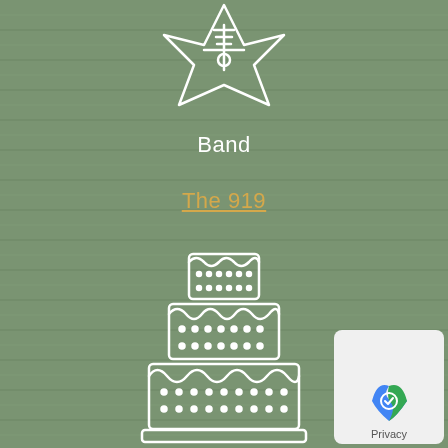[Figure (illustration): White outline electric guitar / star-shaped icon pointing upward on green background]
Band
The 919
[Figure (illustration): White outline wedding cake icon with three tiers, decorative frosting and dots]
Cake Designer